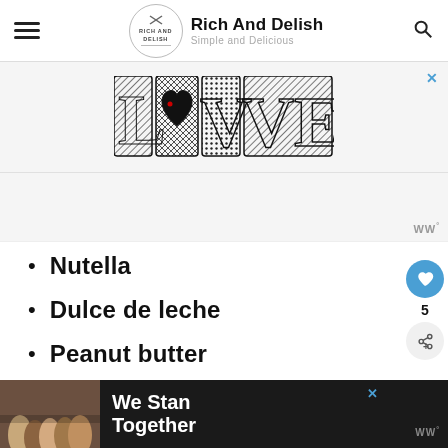Rich And Delish — Simple and Delicious
[Figure (illustration): Decorative LOVE text graphic in black and white patterned letters, used as advertisement banner]
[Figure (other): Ad spacer area with WW logo badge on right]
Nutella
Dulce de leche
Peanut butter
[Figure (photo): Bottom advertisement banner showing group of people from behind with text 'We Stand Together' on dark background]